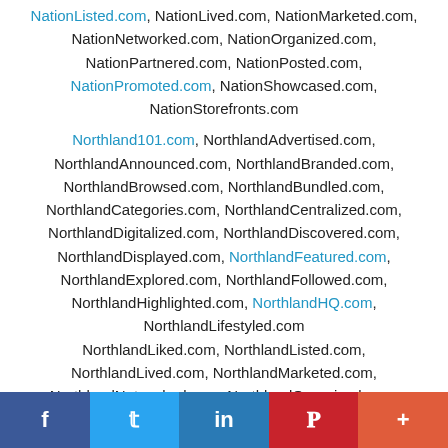NationListed.com, NationLived.com, NationMarketed.com, NationNetworked.com, NationOrganized.com, NationPartnered.com, NationPosted.com, NationPromoted.com, NationShowcased.com, NationStorefronts.com
Northland101.com, NorthlandAdvertised.com, NorthlandAnnounced.com, NorthlandBranded.com, NorthlandBrowsed.com, NorthlandBundled.com, NorthlandCategories.com, NorthlandCentralized.com, NorthlandDigitalized.com, NorthlandDiscovered.com, NorthlandDisplayed.com, NorthlandFeatured.com, NorthlandExplored.com, NorthlandFollowed.com, NorthlandHighlighted.com, NorthlandHQ.com, NorthlandLifestyled.com NorthlandLiked.com, NorthlandListed.com, NorthlandLived.com, NorthlandMarketed.com, NorthlandNetworked.com, NorthlandOrganized.com,
f  Twitter  in  Pinterest  More